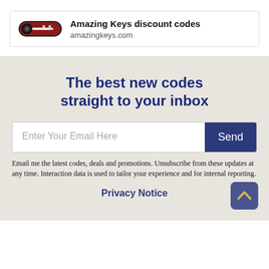[Figure (logo): Amazing Keys logo — red and black oval key icon with text]
Amazing Keys discount codes
amazingkeys.com
The best new codes straight to your inbox
Enter Your Email Here
Send
Email me the latest codes, deals and promotions. Unsubscribe from these updates at any time. Interaction data is used to tailor your experience and for internal reporting.
Privacy Notice